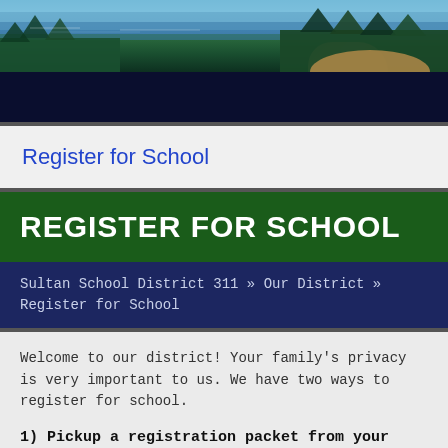[Figure (photo): Scenic outdoor photo of a lake or river with green trees and rocky terrain in the background — appears to be a nature landscape banner image for Sultan School District 311 website.]
Register for School
REGISTER FOR SCHOOL
Sultan School District 311 » Our District » Register for School
Welcome to our district! Your family's privacy is very important to us. We have two ways to register for school.
1) Pickup a registration packet from your school or district office, complete, and return in person.
Sultan Elementary School (Grades K-5)...